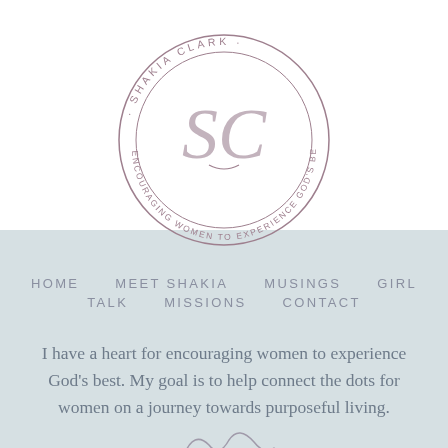[Figure (logo): Circular logo for Shakia Clark with text around the ring reading 'SHAKIA CLARK · ENCOURAGING WOMEN TO EXPERIENCE GOD'S BEST' and stylized 'SC' monogram in the center]
HOME   MEET SHAKIA   MUSINGS   GIRL TALK   MISSIONS   CONTACT
I have a heart for encouraging women to experience God's best. My goal is to help connect the dots for women on a journey towards purposeful living.
[Figure (illustration): Handwritten cursive signature of Shakia Clark]